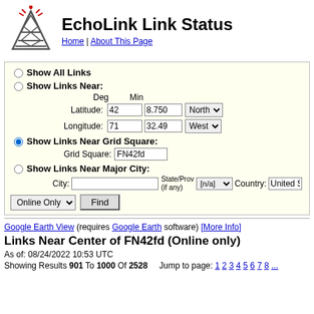EchoLink Link Status
Home | About This Page
Show All Links
Show Links Near: Deg Min Latitude: 42 8.750 North Longitude: 71 32.49 West
Show Links Near Grid Square: Grid Square: FN42fd
Show Links Near Major City: City: State/Prov (if any) [n/a] Country: United S
Online Only Find
Google Earth View (requires Google Earth software) [More Info]
Links Near Center of FN42fd (Online only)
As of: 08/24/2022 10:53 UTC
Showing Results 901 To 1000 Of 2528   Jump to page: 1 2 3 4 5 6 7 8 ...